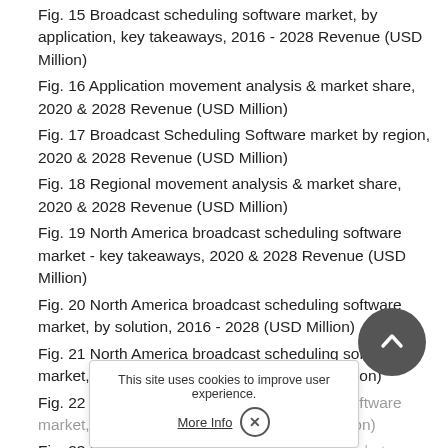Fig. 15 Broadcast scheduling software market, by application, key takeaways, 2016 - 2028 Revenue (USD Million)
Fig. 16 Application movement analysis & market share, 2020 & 2028 Revenue (USD Million)
Fig. 17 Broadcast Scheduling Software market by region, 2020 & 2028 Revenue (USD Million)
Fig. 18 Regional movement analysis & market share, 2020 & 2028 Revenue (USD Million)
Fig. 19 North America broadcast scheduling software market - key takeaways, 2020 & 2028 Revenue (USD Million)
Fig. 20 North America broadcast scheduling software market, by solution, 2016 - 2028 (USD Million)
Fig. 21 North America broadcast scheduling software market, by deployment, 2016 - 2028 (USD Million)
Fig. 22 North America broadcast scheduling software market, by application, 2016 - 2028 (USD Million)
Fig. 23 U.S. broadcast scheduling software market...